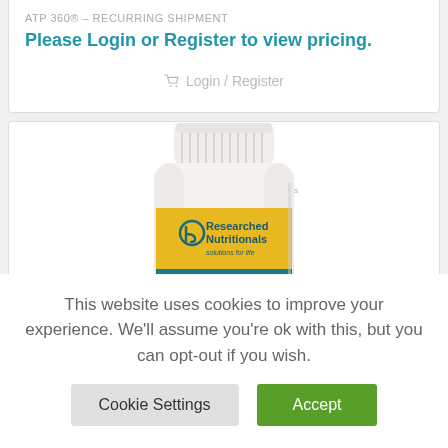ATP 360® – RECURRING SHIPMENT
Please Login or Register to view pricing.
Login / Register
[Figure (photo): White supplement bottle with yellow label reading Researched Nutritionals, solutions for life]
This website uses cookies to improve your experience. We'll assume you're ok with this, but you can opt-out if you wish.
Cookie Settings
Accept